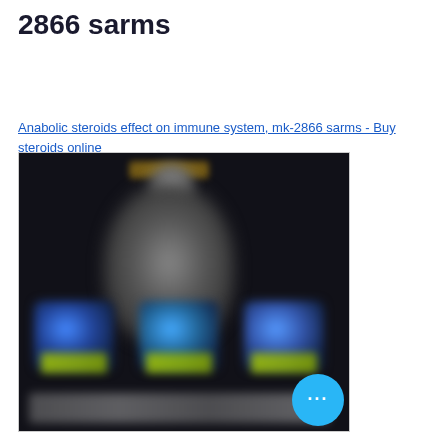2866 sarms
Anabolic steroids effect on immune system, mk-2866 sarms - Buy steroids online
[Figure (photo): Blurred promotional image showing a muscular figure silhouette against a dark background, with three supplement product cans at the bottom with colorful labels, and a more-options button (three dots) in the lower right corner.]